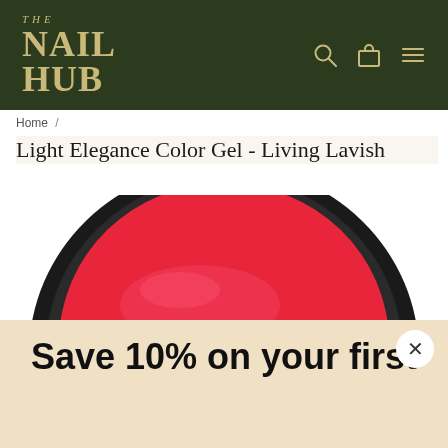THE NAIL HUB
Home /
Light Elegance Color Gel - Living Lavish
[Figure (photo): Close-up top view of an open round black jar containing bright red/pink gel nail product on white background]
Save 10% on your first order